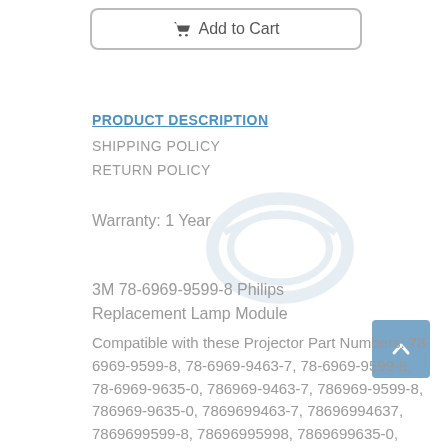Add to Cart
PRODUCT DESCRIPTION
SHIPPING POLICY
RETURN POLICY
Warranty: 1 Year
3M 78-6969-9599-8 Philips Replacement Lamp Module
Compatible with these Projector Part Numbers: 78-6969-9599-8, 78-6969-9463-7, 78-6969-9599-8, 78-6969-9635-0, 786969-9463-7, 786969-9599-8, 786969-9635-0, 7869699463-7, 78696994637, 7869699599-8, 78696995998, 7869699635-0,